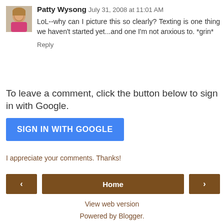Patty Wysong  July 31, 2008 at 11:01 AM
LoL--why can I picture this so clearly? Texting is one thing we haven't started yet...and one I'm not anxious to. *grin*
Reply
To leave a comment, click the button below to sign in with Google.
SIGN IN WITH GOOGLE
I appreciate your comments. Thanks!
‹
Home
›
View web version
Powered by Blogger.